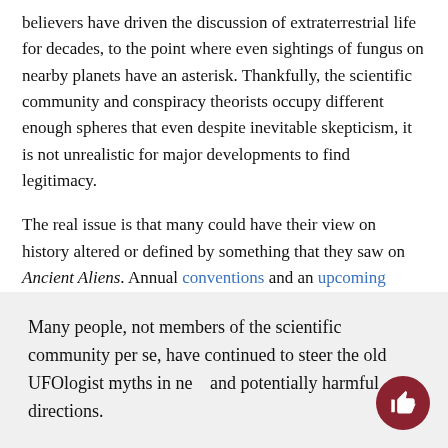believers have driven the discussion of extraterrestrial life for decades, to the point where even sightings of fungus on nearby planets have an asterisk. Thankfully, the scientific community and conspiracy theorists occupy different enough spheres that even despite inevitable skepticism, it is not unrealistic for major developments to find legitimacy.
The real issue is that many could have their view on history altered or defined by something that they saw on Ancient Aliens. Annual conventions and an upcoming movie imply that the show is incredibly popular, so even if the vast majority of viewers and convention-goers are not taking it seriously, the show's reach alone ensures a subset of believers. We can only hope that with time will come clarity, which will finally put the decades-old ideas of people like Erich von Däniken to rest, to make way for a more productive conversation.
Many people, not members of the scientific community per se, have continued to steer the old UFOlogist myths in new and potentially harmful directions.